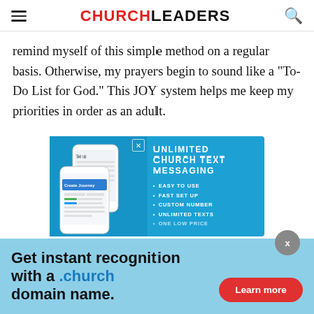CHURCHLEADERS
remind myself of this simple method on a regular basis. Otherwise, my prayers begin to sound like a "To-Do List for God." This JOY system helps me keep my priorities in order as an adult.
[Figure (infographic): Blue advertisement banner for Unlimited Church Text Messaging app with phone mockup on left and bullet points: EASY TO USE, FAST SET UP, CUSTOM NUMBER, UNLIMITED TEXTS on right]
[Figure (infographic): Light blue bottom banner advertisement: Get instant recognition with a .church domain name. Learn more button in red]